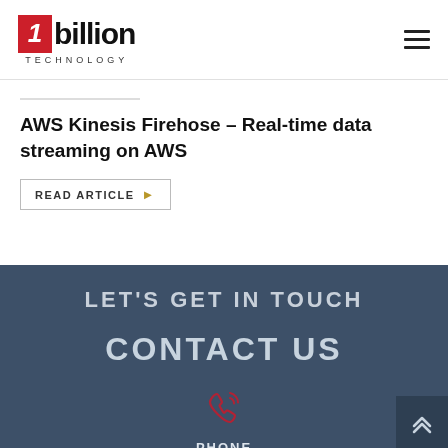1billion TECHNOLOGY
AWS Kinesis Firehose – Real-time data streaming on AWS
READ ARTICLE ▶
LET'S GET IN TOUCH
CONTACT US
PHONE
+1 650-780-9321 (USA)